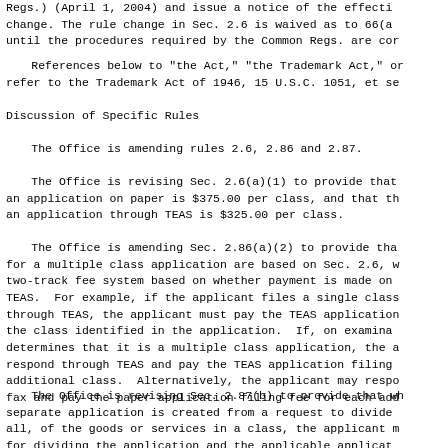Regs.) (April 1, 2004) and issue a notice of the effecti change. The rule change in Sec. 2.6 is waived as to 66(a until the procedures required by the Common Regs. are co
References below to "the Act," "the Trademark Act," o refer to the Trademark Act of 1946, 15 U.S.C. 1051, et s
Discussion of Specific Rules
The Office is amending rules 2.6, 2.86 and 2.87.
The Office is revising Sec. 2.6(a)(1) to provide that an application on paper is $375.00 per class, and that th an application through TEAS is $325.00 per class.
The Office is amending Sec. 2.86(a)(2) to provide tha for a multiple class application are based on Sec. 2.6, w two-track fee system based on whether payment is made on TEAS. For example, if the applicant files a single clas through TEAS, the applicant must pay the TEAS applicatio the class identified in the application. If, on examina determines that it is a multiple class application, the a respond through TEAS and pay the TEAS application filing additional class. Alternatively, the applicant may resp fax and pay the paper application filing fee for each add
The Office is revising Sec. 2.87(b) to provide that wh separate application is created from a request to divide all, of the goods or services in a class, the applicant n for dividing the application and the applicable applicat